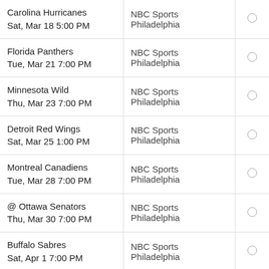| Game | Network |  |
| --- | --- | --- |
| Carolina Hurricanes
Sat, Mar 18 5:00 PM | NBC Sports Philadelphia | ○ |
| Florida Panthers
Tue, Mar 21 7:00 PM | NBC Sports Philadelphia | ○ |
| Minnesota Wild
Thu, Mar 23 7:00 PM | NBC Sports Philadelphia | ○ |
| Detroit Red Wings
Sat, Mar 25 1:00 PM | NBC Sports Philadelphia | ○ |
| Montreal Canadiens
Tue, Mar 28 7:00 PM | NBC Sports Philadelphia | ○ |
| @ Ottawa Senators
Thu, Mar 30 7:00 PM | NBC Sports Philadelphia | ○ |
| Buffalo Sabres
Sat, Apr 1 7:00 PM | NBC Sports Philadelphia | ○ |
| @ Pittsburgh Penguins
Sun, Apr 2 6:00 PM | NBC Sports Philadelphia | ○ |
| @ St. Louis Blues
... | NBC Sports Philadelphia | ○ |